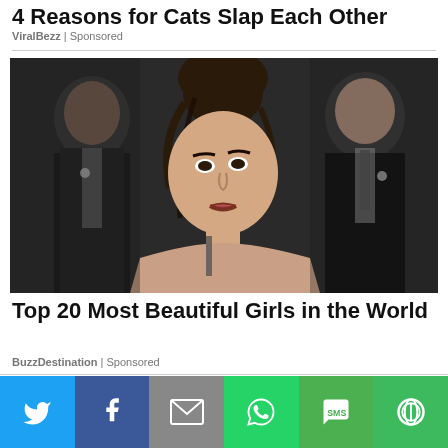4 Reasons for Cats Slap Each Other
ViralBezz | Sponsored
[Figure (photo): A young woman with brown hair in an updo looking over her shoulder, with two men in suits in the background]
Top 20 Most Beautiful Girls in the World
BuzzDestination | Sponsored
[Figure (infographic): Social share bar with Twitter, Facebook, Email, WhatsApp, SMS, and More buttons]